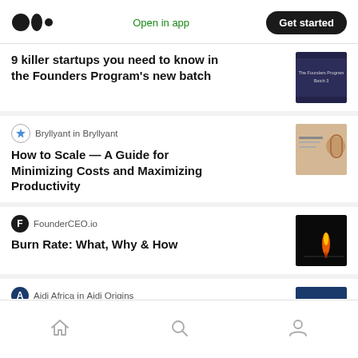Medium logo | Open in app | Get started
9 killer startups you need to know in the Founders Program’s new batch
Bryllyant in Bryllyant
How to Scale — A Guide for Minimizing Costs and Maximizing Productivity
FounderCEO.io
Burn Rate: What, Why & How
Aidi Africa in Aidi Origins
Introducing Aidi Africa
Home | Search | Profile